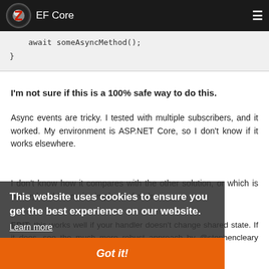EF Core
await someAsyncMethod();
}
I'm not sure if this is a 100% safe way to do this.
Async events are tricky. I tested with multiple subscribers, and it worked. My environment is ASP.NET Core, so I don't know if it works elsewhere.
I don't know how it compares with the other solution, or which is better, but this one is simpler and makes
EDIT: this works well if your handler doesn't change shared state. If it does, see the much more robust approach by @stephencleary above.
This website uses cookies to ensure you get the best experience on our website.
Learn more
Got it!